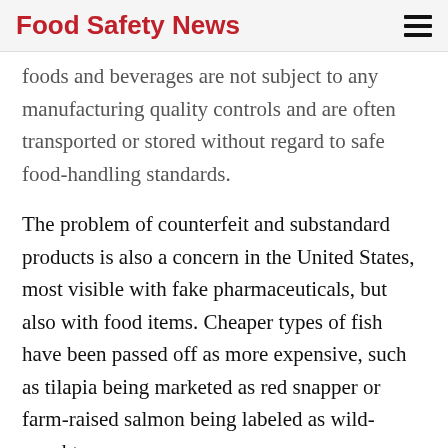Food Safety News
foods and beverages are not subject to any manufacturing quality controls and are often transported or stored without regard to safe food-handling standards.
The problem of counterfeit and substandard products is also a concern in the United States, most visible with fake pharmaceuticals, but also with food items. Cheaper types of fish have been passed off as more expensive, such as tilapia being marketed as red snapper or farm-raised salmon being labeled as wild-caught.
According to the U.S. Food and Drug Administration, olive oil is one of the most frequently counterfeited